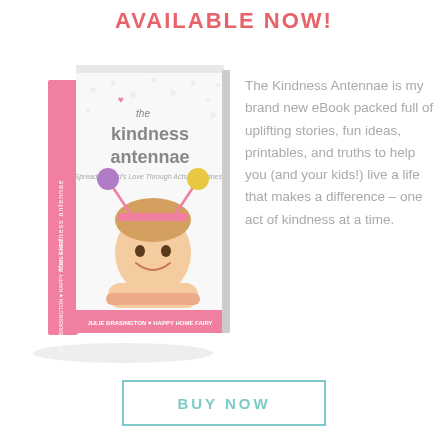AVAILABLE NOW!
[Figure (illustration): 3D book cover of 'The Kindness Antennae' by Julie Brasington / Happy Home Fairy. Pink spine, white cover with polka dots, large title text, a smiling girl wearing pink antennae headband with purple and yellow pom-poms, subtitle 'Spreading God's Love Through Acts of Kindness']
The Kindness Antennae is my brand new eBook packed full of uplifting stories, fun ideas, printables, and truths to help you (and your kids!) live a life that makes a difference – one act of kindness at a time.
BUY NOW